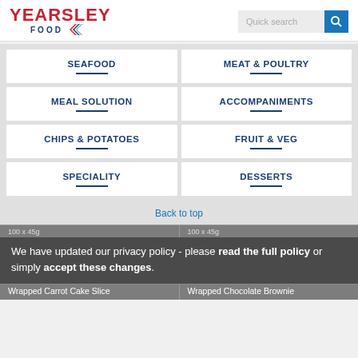[Figure (logo): Yearsley Food logo with red text and blue diamond icon]
Quick search
SEAFOOD
MEAT & POULTRY
MEAL SOLUTION
ACCOMPANIMENTS
CHIPS & POTATOES
FRUIT & VEG
SPECIALITY
DESSERTS
Back to top
100 x 45g
100 x 45g
Wrapped Carrot Cake Slice
Wrapped Chocolate Brownie
We have updated our privacy policy - please read the full policy or simply accept these changes.